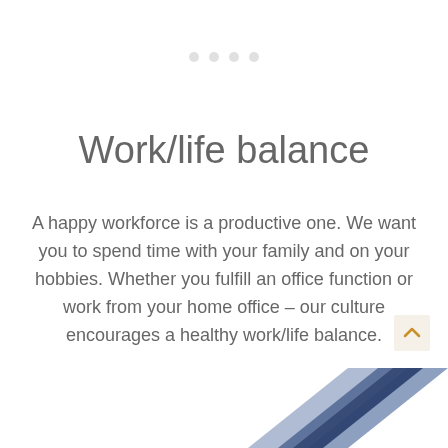Work/life balance
A happy workforce is a productive one. We want you to spend time with your family and on your hobbies. Whether you fulfill an office function or work from your home office – our culture encourages a healthy work/life balance.
[Figure (illustration): Dark blue and steel blue overlapping geometric chevron/arrow shapes at bottom right corner of page]
[Figure (other): Navigation dots (pagination indicators) at top center, light gray circles]